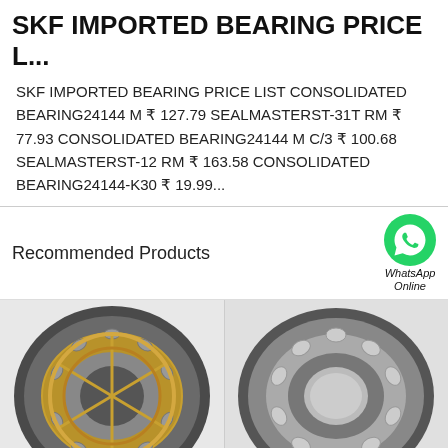SKF IMPORTED BEARING PRICE L...
SKF IMPORTED BEARING PRICE LIST CONSOLIDATED BEARING24144 M ₹ 127.79 SEALMASTERST-31T RM ₹ 77.93 CONSOLIDATED BEARING24144 M C/3 ₹ 100.68 SEALMASTERST-12 RM ₹ 163.58 CONSOLIDATED BEARING24144-K30 ₹ 19.99...
Recommended Products
[Figure (photo): WhatsApp Online button with green WhatsApp logo icon]
[Figure (photo): SKF spherical roller bearing with brass cage, gold and silver metallic appearance]
[Figure (photo): SKF spherical roller bearing, silver/chrome metallic appearance]
All Products
Contact Now